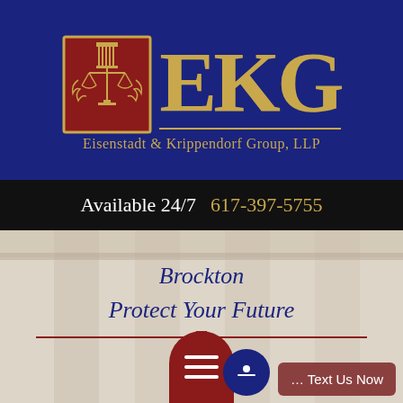[Figure (logo): EKG law firm logo with scales of justice seal and firm name Eisenstadt & Krippendorf Group, LLP on navy blue background]
Available 24/7  617-397-5755
Brockton
Protect Your Future
[Figure (illustration): Background image of courthouse columns, with decorative red divider line and square, red menu button and Text Us Now chat button at bottom]